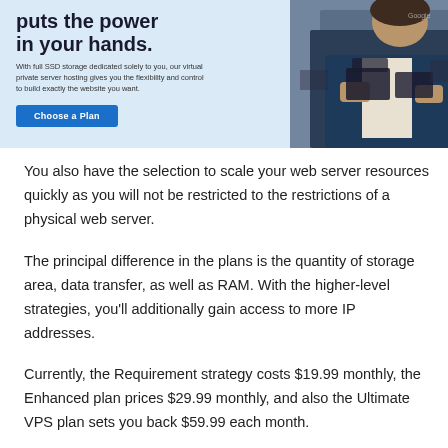[Figure (screenshot): Web hosting advertisement banner with light blue background showing bold headline 'puts the power in your hands.' with descriptive text about VPS hosting, a 'Choose a Plan' blue button, and a photo of a person holding packages on the right side.]
You also have the selection to scale your web server resources quickly as you will not be restricted to the restrictions of a physical web server.
The principal difference in the plans is the quantity of storage area, data transfer, as well as RAM. With the higher-level strategies, you'll additionally gain access to more IP addresses.
Currently, the Requirement strategy costs $19.99 monthly, the Enhanced plan prices $29.99 monthly, and also the Ultimate VPS plan sets you back $59.99 each month.